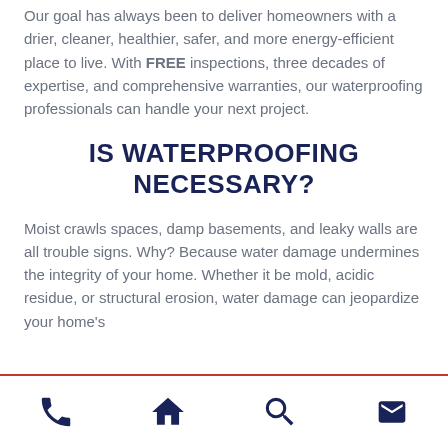Our goal has always been to deliver homeowners with a drier, cleaner, healthier, safer, and more energy-efficient place to live. With FREE inspections, three decades of expertise, and comprehensive warranties, our waterproofing professionals can handle your next project.
IS WATERPROOFING NECESSARY?
Moist crawls spaces, damp basements, and leaky walls are all trouble signs. Why? Because water damage undermines the integrity of your home. Whether it be mold, acidic residue, or structural erosion, water damage can jeopardize your home's
[phone icon] [home icon] [search icon] [mail icon]